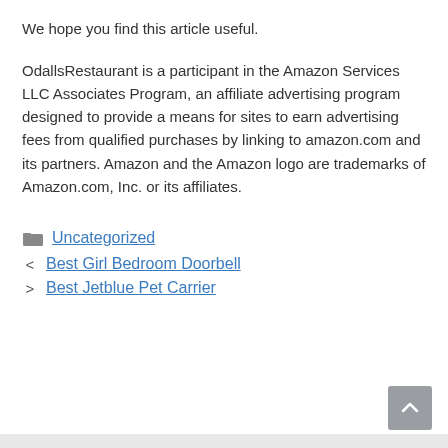We hope you find this article useful.
OdallsRestaurant is a participant in the Amazon Services LLC Associates Program, an affiliate advertising program designed to provide a means for sites to earn advertising fees from qualified purchases by linking to amazon.com and its partners. Amazon and the Amazon logo are trademarks of Amazon.com, Inc. or its affiliates.
Uncategorized
< Best Girl Bedroom Doorbell
> Best Jetblue Pet Carrier